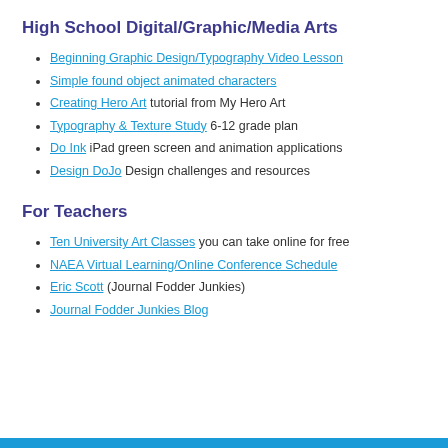High School Digital/Graphic/Media Arts
Beginning Graphic Design/Typography Video Lesson
Simple found object animated characters
Creating Hero Art tutorial from My Hero Art
Typography & Texture Study 6-12 grade plan
Do Ink iPad green screen and animation applications
Design DoJo Design challenges and resources
For Teachers
Ten University Art Classes you can take online for free
NAEA Virtual Learning/Online Conference Schedule
Eric Scott (Journal Fodder Junkies)
Journal Fodder Junkies Blog